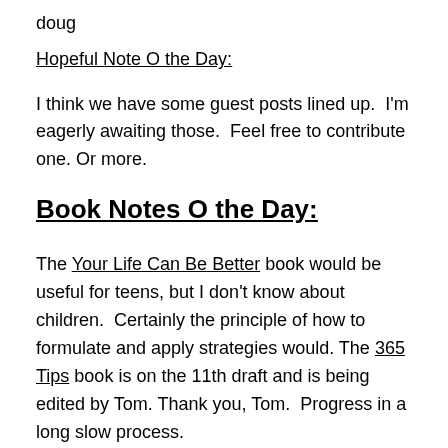doug
Hopeful Note O the Day:
I think we have some guest posts lined up.  I'm eagerly awaiting those.  Feel free to contribute one. Or more.
Book Notes O the Day:
The Your Life Can Be Better book would be useful for teens, but I don't know about children.  Certainly the principle of how to formulate and apply strategies would. The 365 Tips book is on the 11th draft and is being edited by Tom. Thank you, Tom.  Progress in a long slow process.
Irrelevant Note O the Day: